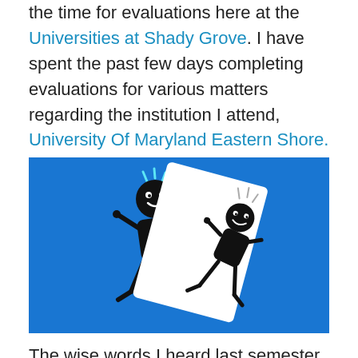the time for evaluations here at the Universities at Shady Grove. I have spent the past few days completing evaluations for various matters regarding the institution I attend, University Of Maryland Eastern Shore.
[Figure (illustration): Two stick figures on a blue background. Left figure is a black stick figure pointing to the right with excitement lines. Right figure is on a white tilted card/rectangle, also a black stick figure with excitement lines.]
The wise words I heard last semester at the Executive Leadership Panel and Networking Event hosted by USG's Career and Internship Center, seem most appropriate when doing the self-evaluation. At this event, Mr. Beverly,